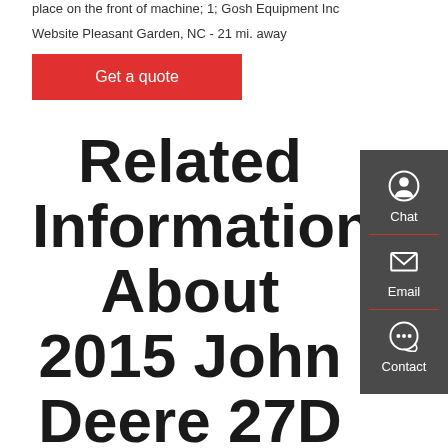place on the front of machine; 1; Gosh Equipment Inc
Website Pleasant Garden, NC - 21 mi. away
Get a quote
Related Information About 2015 John Deere 27D Mini Excavator In Kernersville